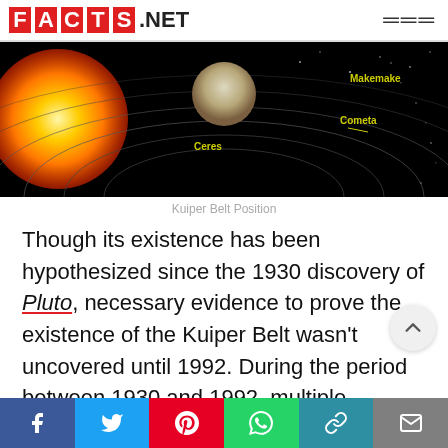FACTS.NET
[Figure (photo): Solar system diagram on black background showing the sun (orange) on the left and orbital rings, with labels for Ceres, Cometa, and Makemake in yellow text — depicting Kuiper Belt position.]
Kuiper Belt Position
Though its existence has been hypothesized since the 1930 discovery of Pluto, necessary evidence to prove the existence of the Kuiper Belt wasn't uncovered until 1992. During the period between 1930 and 1992, multiple astronomers offered ideas about the possibility of a belt just beyond the visible solar system.